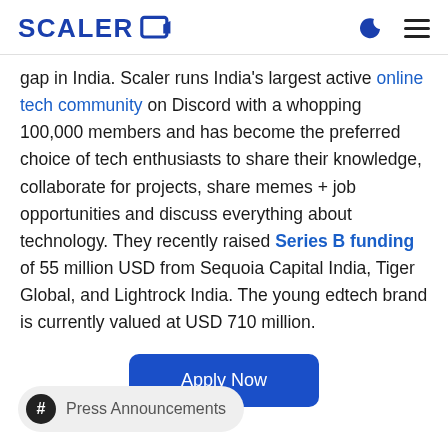SCALER
gap in India. Scaler runs India's largest active online tech community on Discord with a whopping 100,000 members and has become the preferred choice of tech enthusiasts to share their knowledge, collaborate for projects, share memes + job opportunities and discuss everything about technology. They recently raised Series B funding of 55 million USD from Sequoia Capital India, Tiger Global, and Lightrock India. The young edtech brand is currently valued at USD 710 million.
Apply Now
# Press Announcements